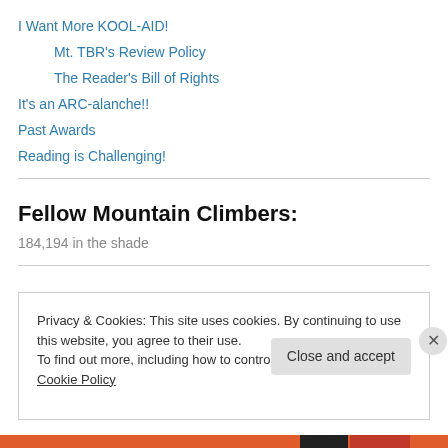I Want More KOOL-AID!
Mt. TBR's Review Policy
The Reader's Bill of Rights
It's an ARC-alanche!!
Past Awards
Reading is Challenging!
Fellow Mountain Climbers:
184,194 in the shade
Privacy & Cookies: This site uses cookies. By continuing to use this website, you agree to their use.
To find out more, including how to control cookies, see here: Cookie Policy
Close and accept